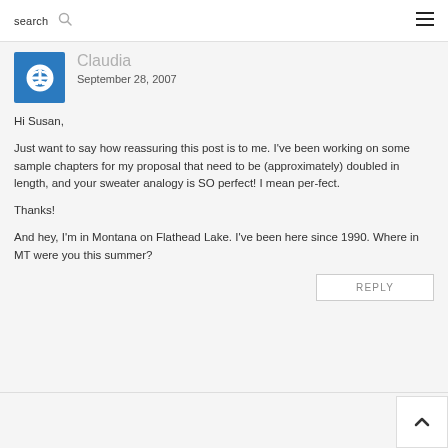search ☰
Claudia
September 28, 2007
Hi Susan,

Just want to say how reassuring this post is to me. I've been working on some sample chapters for my proposal that need to be (approximately) doubled in length, and your sweater analogy is SO perfect! I mean per-fect.

Thanks!

And hey, I'm in Montana on Flathead Lake. I've been here since 1990. Where in MT were you this summer?
REPLY ↑